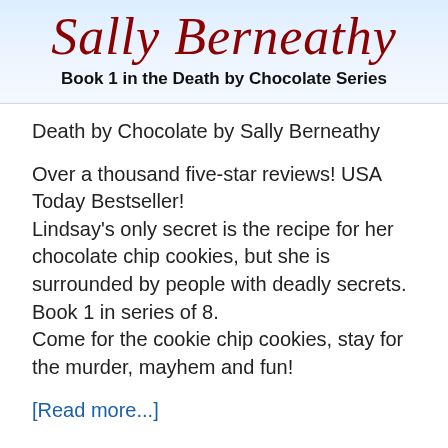[Figure (other): Header banner with light blue gradient background containing author name 'Sally Berneathy' in dark red italic script and subtitle 'Book 1 in the Death by Chocolate Series' in bold black text]
Death by Chocolate by Sally Berneathy
Over a thousand five-star reviews! USA Today Bestseller! Lindsay's only secret is the recipe for her chocolate chip cookies, but she is surrounded by people with deadly secrets. Book 1 in series of 8. Come for the cookie chip cookies, stay for the murder, mayhem and fun!
[Read more...]